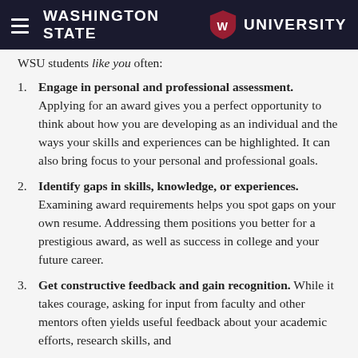Washington State University
WSU students like you often:
Engage in personal and professional assessment. Applying for an award gives you a perfect opportunity to think about how you are developing as an individual and the ways your skills and experiences can be highlighted. It can also bring focus to your personal and professional goals.
Identify gaps in skills, knowledge, or experiences. Examining award requirements helps you spot gaps on your own resume. Addressing them positions you better for a prestigious award, as well as success in college and your future career.
Get constructive feedback and gain recognition. While it takes courage, asking for input from faculty and other mentors often yields useful feedback about your academic efforts, research skills, and leadership potential. You'll also elevate the